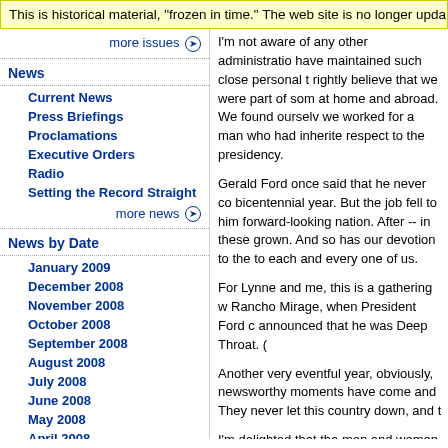This is historical material, "frozen in time." The web site is no longer upda
more issues →
News
Current News
Press Briefings
Proclamations
Executive Orders
Radio
Setting the Record Straight
more news →
News by Date
January 2009
December 2008
November 2008
October 2008
September 2008
August 2008
July 2008
June 2008
May 2008
April 2008
March 2008
February 2008
I'm not aware of any other administratio have maintained such close personal t rightly believe that we were part of som at home and abroad. We found ourselv we worked for a man who had inherite respect to the presidency.
Gerald Ford once said that he never co bicentennial year. But the job fell to him forward-looking nation. After -- in these grown. And so has our devotion to the to each and every one of us.
For Lynne and me, this is a gathering w Rancho Mirage, when President Ford c announced that he was Deep Throat. (
Another very eventful year, obviously, newsworthy moments have come and They never let this country down, and t
I'm delighted that the men and women for Distinguished Public Service. We're Americans have always understood tha peace. And in a time like the present, v free.
The conditions in this war are some of mountain ridges in Afghanistan or wea our people work seven days a week, o and determination that are going to wi